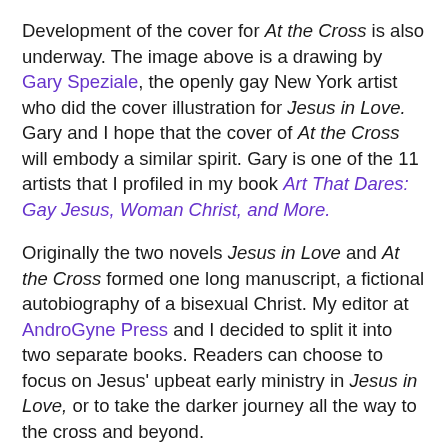Development of the cover for At the Cross is also underway. The image above is a drawing by Gary Speziale, the openly gay New York artist who did the cover illustration for Jesus in Love. Gary and I hope that the cover of At the Cross will embody a similar spirit. Gary is one of the 11 artists that I profiled in my book Art That Dares: Gay Jesus, Woman Christ, and More.
Originally the two novels Jesus in Love and At the Cross formed one long manuscript, a fictional autobiography of a bisexual Christ. My editor at AndroGyne Press and I decided to split it into two separate books. Readers can choose to focus on Jesus' upbeat early ministry in Jesus in Love, or to take the darker journey all the way to the cross and beyond.
A passionate Jesus stands up to religious leaders and pays the ultimate price in At the Cross. Speaking with today's sophistication, Jesus reveals the erotic, mystical experiences that may have propelled his life, death, and resurrection in first-century Palestine. Love stories are interwoven with his Last Supper, arrest, trial, crucifixion, and resurrection, ending